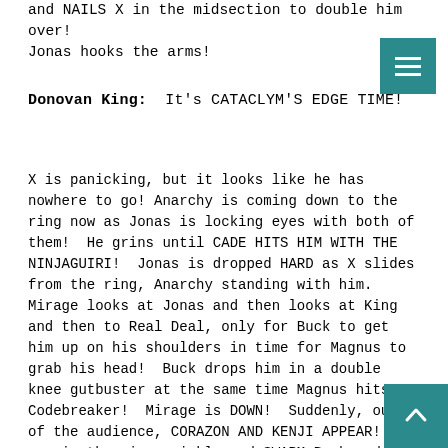and NAILS X in the midsection to double him over! Jonas hooks the arms!
Donovan King:  It's CATACLYM'S EDGE TIME!
X is panicking, but it looks like he has nowhere to go! Anarchy is coming down to the ring now as Jonas is locking eyes with both of them!  He grins until CADE HITS HIM WITH THE NINJAGUIRI!  Jonas is dropped HARD as X slides from the ring, Anarchy standing with him.  Mirage looks at Jonas and then looks at King and then to Real Deal, only for Buck to get him up on his shoulders in time for Magnus to grab his head!  Buck drops him in a double knee gutbuster at the same time Magnus hits a Codebreaker!  Mirage is DOWN!  Suddenly, out of the audience, CORAZON AND KENJI APPEAR!  They are in the ring quickly and SWARM Buck and Magnus